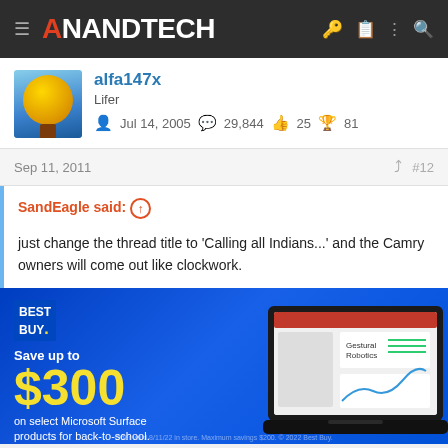AnandTech
alfa147x
Lifer
Jul 14, 2005  29,844  25  81
Sep 11, 2011  #12
SandEagle said: ↑

just change the thread title to 'Calling all Indians...' and the Camry owners will come out like clockwork.
[Figure (photo): Best Buy advertisement: Save up to $300 on select Microsoft Surface products for back-to-school. Shop Now button. Shows laptop with Microsoft Surface presentation on screen.]